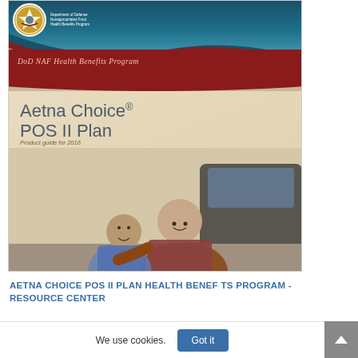[Figure (photo): Cover page of DoD NAF Health Benefits Program brochure for Aetna Choice POS II Plan. Features a teal header band with DoD logo, a red swoosh band with 'DoD NAF Health Benefits Program' label, a sandy/beige background with the plan title and product guide text, and a photo of a man and young boy smiling together near a vehicle.]
Aetna Choice® POS II Plan
Product guide for 2016
AETNA CHOICE POS II PLAN HEALTH BENEF TS PROGRAM - RESOURCE CENTER